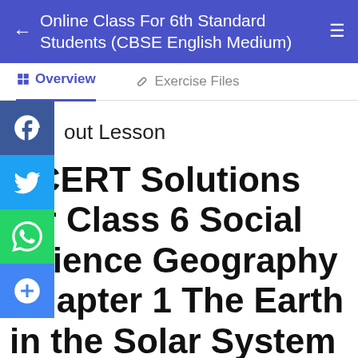Online Class For 6th Standard Students (CBSE English Medium)
Overview | Exercise Files
About Lesson
NCERT Solutions for Class 6 Social Science Geography Chapter 1 The Earth in the Solar System
1. Answer the following questions briefly.
(a) How does a planet differ from a star?
(b) What is meant by the 'Solar System'?
(c) Name all the planets according to their distance from the